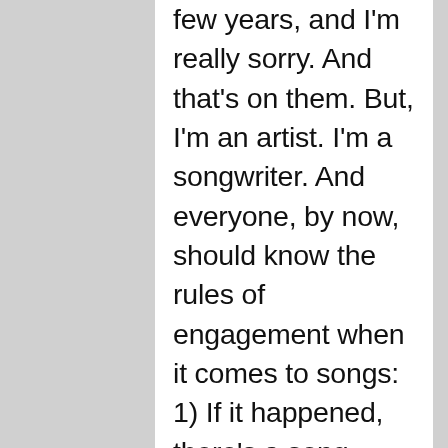few years, and I'm really sorry. And that's on them. But, I'm an artist. I'm a songwriter. And everyone, by now, should know the rules of engagement when it comes to songs: 1) If it happened, there's a song about it 2) If an artist gets hurt, they will take it out in their work. People have differing opinions about whether you should name or identify people in your songs. I don't even know where I stand on that. I have no interest in identifying the people that my last record is about. Most of them are so pathetic that I will never again sully my mouth with